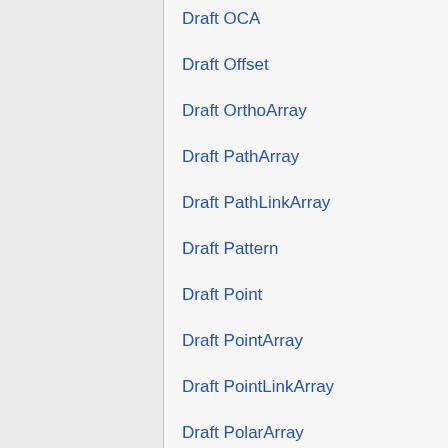Draft OCA
Draft Offset
Draft OrthoArray
Draft PathArray
Draft PathLinkArray
Draft Pattern
Draft Point
Draft PointArray
Draft PointLinkArray
Draft PolarArray
Draft Polygon
Draft Preferences